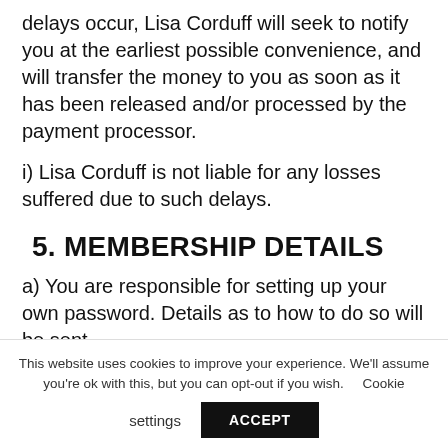delays occur, Lisa Corduff will seek to notify you at the earliest possible convenience, and will transfer the money to you as soon as it has been released and/or processed by the payment processor.
i) Lisa Corduff is not liable for any losses suffered due to such delays.
5. MEMBERSHIP DETAILS
a) You are responsible for setting up your own password. Details as to how to do so will be sent
This website uses cookies to improve your experience. We'll assume you're ok with this, but you can opt-out if you wish.    Cookie settings   ACCEPT